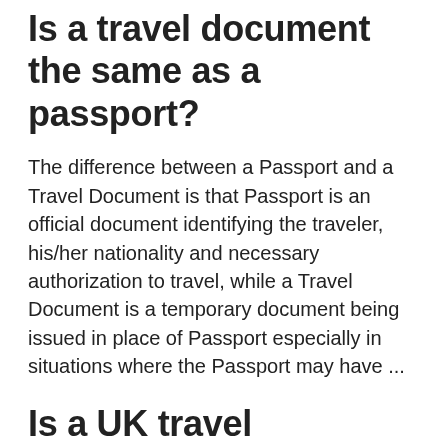Is a travel document the same as a passport?
The difference between a Passport and a Travel Document is that Passport is an official document identifying the traveler, his/her nationality and necessary authorization to travel, while a Travel Document is a temporary document being issued in place of Passport especially in situations where the Passport may have ...
Is a UK travel document the same as a passport?
Travel Documents issued since 16 August 1996 are similar in size and format to the